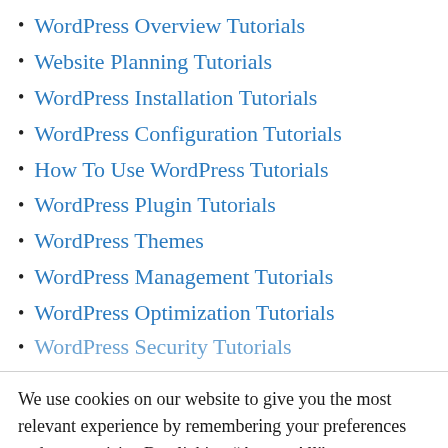WordPress Overview Tutorials
Website Planning Tutorials
WordPress Installation Tutorials
WordPress Configuration Tutorials
How To Use WordPress Tutorials
WordPress Plugin Tutorials
WordPress Themes
WordPress Management Tutorials
WordPress Optimization Tutorials
WordPress Security Tutorials
We use cookies on our website to give you the most relevant experience by remembering your preferences and repeat visits. By clicking "Accept All", you consent to the use of ALL the cookies. However, you may visit "Cookie Settings" to provide a controlled consent.
Cookie Settings | Accept All